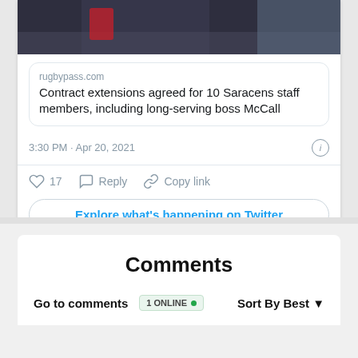[Figure (screenshot): Top portion of a rugby player photo cropped at the top of a Twitter/social media card]
rugbypass.com
Contract extensions agreed for 10 Saracens staff members, including long-serving boss McCall
3:30 PM · Apr 20, 2021
17   Reply   Copy link
Explore what's happening on Twitter
Comments
Go to comments  1 ONLINE •  Sort By Best ▼